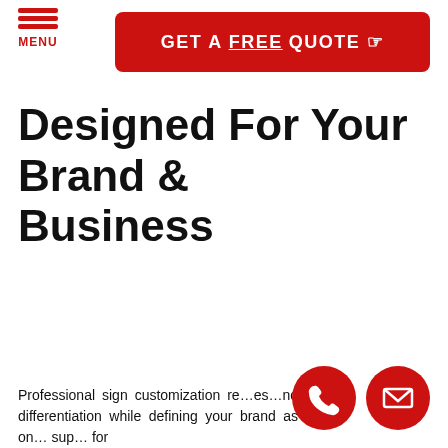MENU
[Figure (other): Red GET A FREE QUOTE button with pointing hand icon]
Designed For Your Brand & Business
[Figure (other): Red circular phone call button icon]
[Figure (other): Red circular email/envelope button icon]
Professional sign customization re… es… nd differentiation while defining your brand as on… sup… for